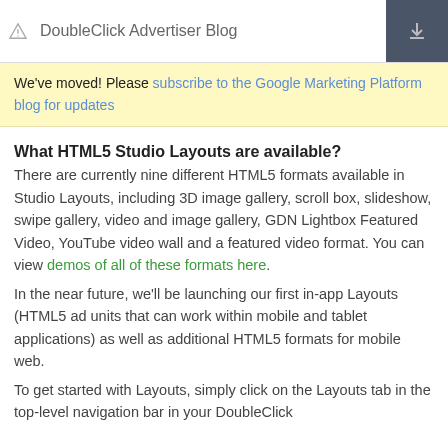DoubleClick Advertiser Blog
We've moved! Please subscribe to the Google Marketing Platform blog for updates
What HTML5 Studio Layouts are available?
There are currently nine different HTML5 formats available in Studio Layouts, including 3D image gallery, scroll box, slideshow, swipe gallery, video and image gallery, GDN Lightbox Featured Video, YouTube video wall and a featured video format. You can view demos of all of these formats here.
In the near future, we'll be launching our first in-app Layouts (HTML5 ad units that can work within mobile and tablet applications) as well as additional HTML5 formats for mobile web.
To get started with Layouts, simply click on the Layouts tab in the top-level navigation bar in your DoubleClick